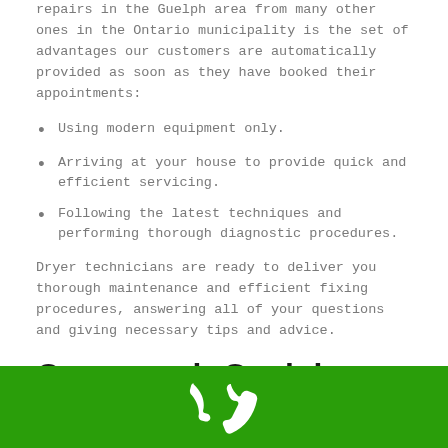repairs in the Guelph area from many other ones in the Ontario municipality is the set of advantages our customers are automatically provided as soon as they have booked their appointments:
Using modern equipment only.
Arriving at your house to provide quick and efficient servicing.
Following the latest techniques and performing thorough diagnostic procedures.
Dryer technicians are ready to deliver you thorough maintenance and efficient fixing procedures, answering all of your questions and giving necessary tips and advice.
Oven repair Guelph
[Figure (other): Green footer bar with white phone icon]